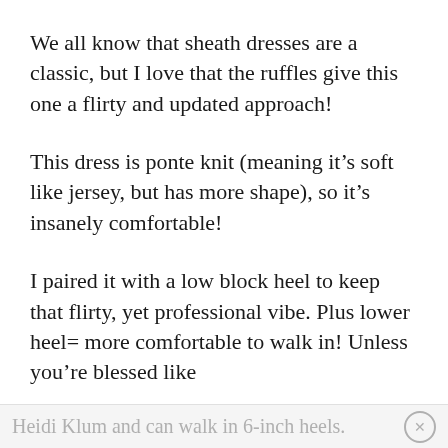We all know that sheath dresses are a classic, but I love that the ruffles give this one a flirty and updated approach!
This dress is ponte knit (meaning it's soft like jersey, but has more shape), so it's insanely comfortable!
I paired it with a low block heel to keep that flirty, yet professional vibe. Plus lower heel= more comfortable to walk in! Unless you're blessed like
Heidi Klum and can walk in 6-inch heels.